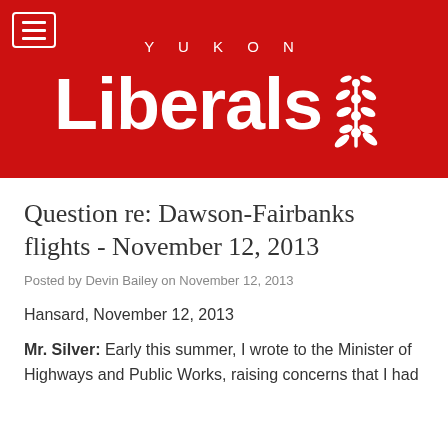[Figure (logo): Yukon Liberals logo on red background with stylized fireweed flower, hamburger menu icon top-left]
Question re: Dawson-Fairbanks flights - November 12, 2013
Posted by Devin Bailey on November 12, 2013
Hansard, November 12, 2013
Mr. Silver: Early this summer, I wrote to the Minister of Highways and Public Works, raising concerns that I had